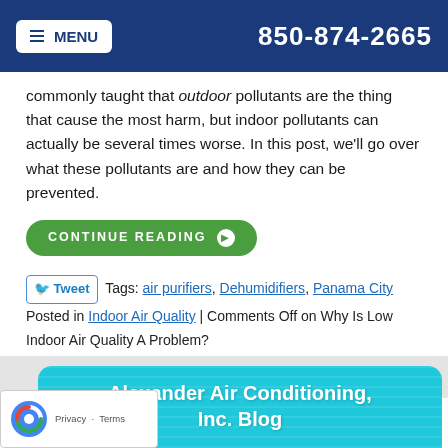MENU  850-874-2665
commonly taught that outdoor pollutants are the thing that cause the most harm, but indoor pollutants can actually be several times worse. In this post, we'll go over what these pollutants are and how they can be prevented.
CONTINUE READING
Tweet  Tags: air purifiers, Dehumidifiers, Panama City
Posted in Indoor Air Quality | Comments Off on Why Is Low Indoor Air Quality A Problem?
Alexander Air Conditioning, Inc. Blog